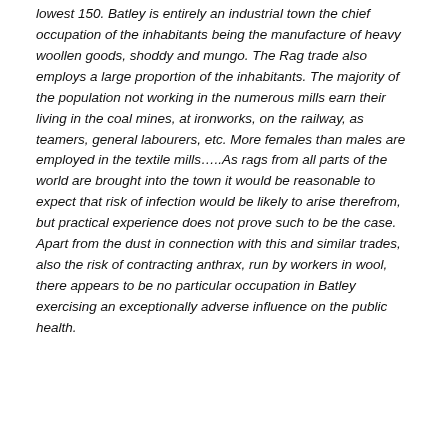lowest 150. Batley is entirely an industrial town the chief occupation of the inhabitants being the manufacture of heavy woollen goods, shoddy and mungo. The Rag trade also employs a large proportion of the inhabitants. The majority of the population not working in the numerous mills earn their living in the coal mines, at ironworks, on the railway, as teamers, general labourers, etc. More females than males are employed in the textile mills…..As rags from all parts of the world are brought into the town it would be reasonable to expect that risk of infection would be likely to arise therefrom, but practical experience does not prove such to be the case. Apart from the dust in connection with this and similar trades, also the risk of contracting anthrax, run by workers in wool, there appears to be no particular occupation in Batley exercising an exceptionally adverse influence on the public health.